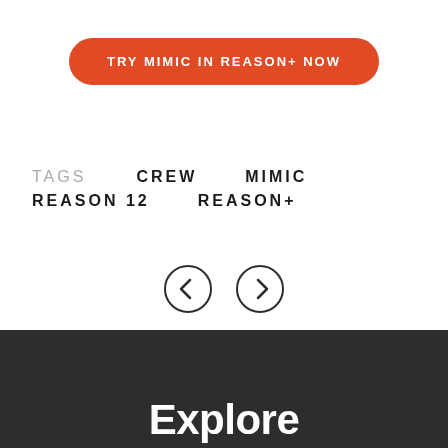TRY MIMIC IN REASON+ NOW
TAGS   CREW   MIMIC   REASON 12   REASON+
[Figure (infographic): Navigation arrows: left chevron circle and right chevron circle]
Explore